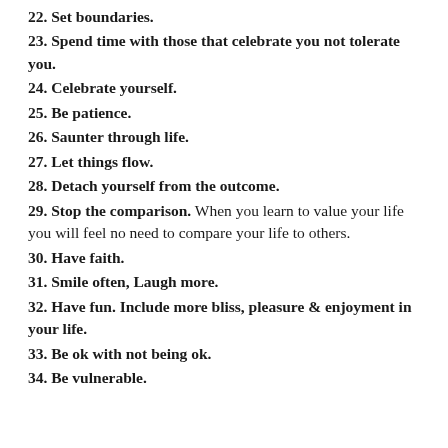22. Set boundaries.
23. Spend time with those that celebrate you not tolerate you.
24. Celebrate yourself.
25. Be patience.
26. Saunter through life.
27. Let things flow.
28. Detach yourself from the outcome.
29. Stop the comparison. When you learn to value your life you will feel no need to compare your life to others.
30. Have faith.
31. Smile often, Laugh more.
32. Have fun. Include more bliss, pleasure & enjoyment in your life.
33. Be ok with not being ok.
34. Be vulnerable.